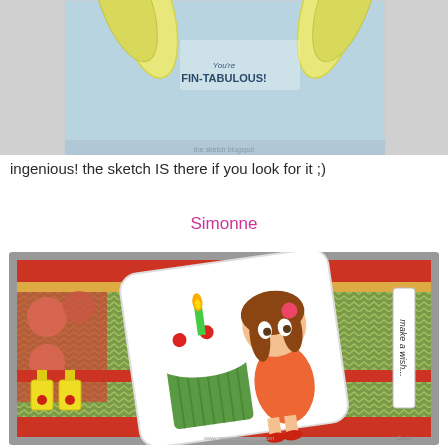[Figure (photo): Cropped top portion showing a handmade greeting card with yellow ribbon elements and text 'You're FIN-TABULOUS!' on a light blue background]
ingenious! the sketch IS there if you look for it ;)
Simonne
[Figure (photo): Handmade birthday card by Simonne featuring a cute girl holding a large green cupcake with a candle, decorated with red and green patterned paper, yellow clips, and 'make a wish' text. Watermark reads www.senses.blogspot.com]